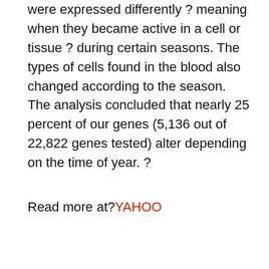were expressed differently ? meaning when they became active in a cell or tissue ? during certain seasons. The types of cells found in the blood also changed according to the season. The analysis concluded that nearly 25 percent of our genes (5,136 out of 22,822 genes tested) alter depending on the time of year. ?
Read more at?YAHOO
[Figure (other): Social media share buttons: Facebook, Twitter, Pinterest, WhatsApp]